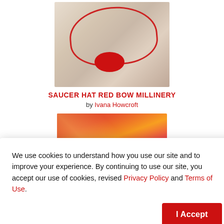[Figure (photo): A saucer-style hat with a red bow, millinery product photo with white/beige fabric and red ribbon details]
SAUCER HAT RED BOW MILLINERY
by Ivana Howcroft
[Figure (photo): Close-up photo of red, pink, and orange tropical flowers with green foliage background]
We use cookies to understand how you use our site and to improve your experience. By continuing to use our site, you accept our use of cookies, revised Privacy Policy and Terms of Use.